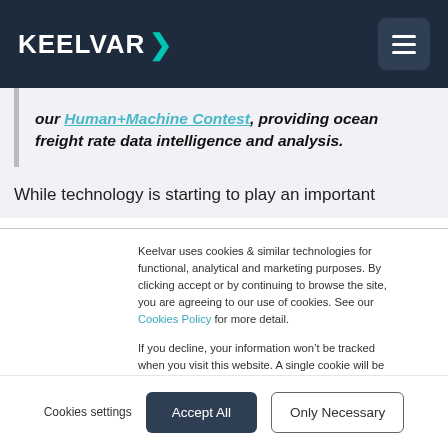KEELVAR >
our Human+Machine Contest, providing ocean freight rate data intelligence and analysis.
While technology is starting to play an important
Keelvar uses cookies & similar technologies for functional, analytical and marketing purposes. By clicking accept or by continuing to browse the site, you are agreeing to our use of cookies. See our Cookies Policy for more detail.

If you decline, your information won't be tracked when you visit this website. A single cookie will be used in your browser to remember your preference not to be tracked.
Cookies settings
Accept All
Only Necessary